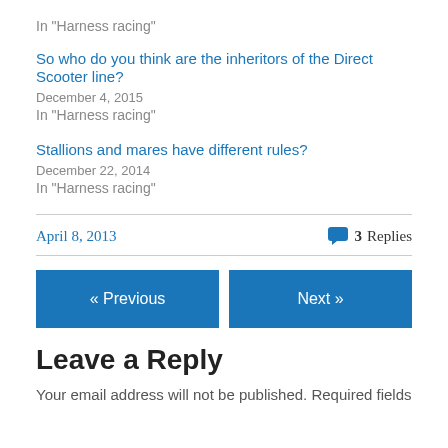In "Harness racing"
So who do you think are the inheritors of the Direct Scooter line?
December 4, 2015
In "Harness racing"
Stallions and mares have different rules?
December 22, 2014
In "Harness racing"
April 8, 2013
3 Replies
« Previous
Next »
Leave a Reply
Your email address will not be published. Required fields